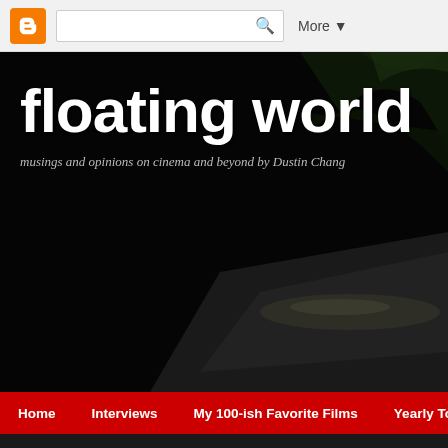[Figure (screenshot): Blogger top navigation bar with orange Blogger icon, search box, and More button]
floating world
musings and opinions on cinema and beyond by Dustin Chang
[Figure (photo): Dark cinematic night scene with illuminated road or surface]
Home   Interviews   My 100-ish Favorite Films   Yearly To
Monday, October 29, 2018
Animis Suspirium
Suspiria (2018) - Guadagnino